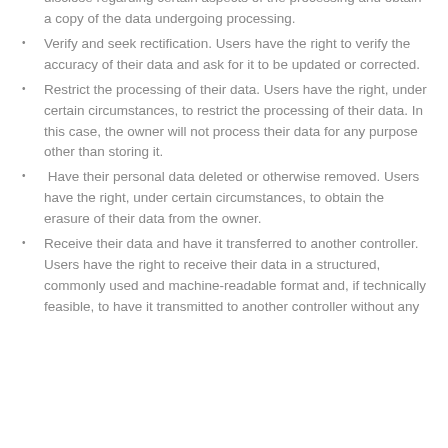disclose regarding certain aspects of the processing and obtain a copy of the data undergoing processing.
Verify and seek rectification. Users have the right to verify the accuracy of their data and ask for it to be updated or corrected.
Restrict the processing of their data. Users have the right, under certain circumstances, to restrict the processing of their data. In this case, the owner will not process their data for any purpose other than storing it.
Have their personal data deleted or otherwise removed. Users have the right, under certain circumstances, to obtain the erasure of their data from the owner.
Receive their data and have it transferred to another controller. Users have the right to receive their data in a structured, commonly used and machine-readable format and, if technically feasible, to have it transmitted to another controller without any